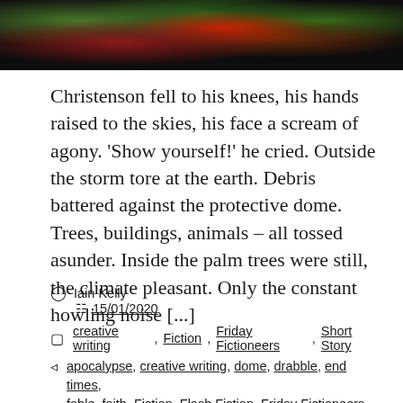[Figure (photo): Dark photograph of red flowers (possibly dahlias or rhododendrons) with green foliage in background, taken at night or in low light conditions.]
Christenson fell to his knees, his hands raised to the skies, his face a scream of agony. 'Show yourself!' he cried. Outside the storm tore at the earth. Debris battered against the protective dome. Trees, buildings, animals – all tossed asunder. Inside the palm trees were still, the climate pleasant. Only the constant howling noise [...]
Iain Kelly   15/01/2020
creative writing, Fiction, Friday Fictioneers, Short Story
apocalypse, creative writing, dome, drabble, end times, fable, faith, Fiction, Flash Fiction, Friday Fictioneers, future, God